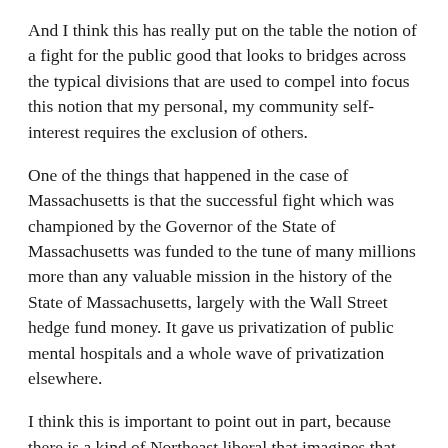And I think this has really put on the table the notion of a fight for the public good that looks to bridges across the typical divisions that are used to compel into focus this notion that my personal, my community self-interest requires the exclusion of others.
One of the things that happened in the case of Massachusetts is that the successful fight which was championed by the Governor of the State of Massachusetts was funded to the tune of many millions more than any valuable mission in the history of the State of Massachusetts, largely with the Wall Street hedge fund money. It gave us privatization of public mental hospitals and a whole wave of privatization elsewhere.
I think this is important to point out in part, because there is a kind of Northeast liberal that imagines that these savage rational inequalities that we see from the period of Jim Crow are somehow a red state problem or a Southern problem.  And in fact, in one of the most liberal places in the United States, Massachusetts, you have incredible